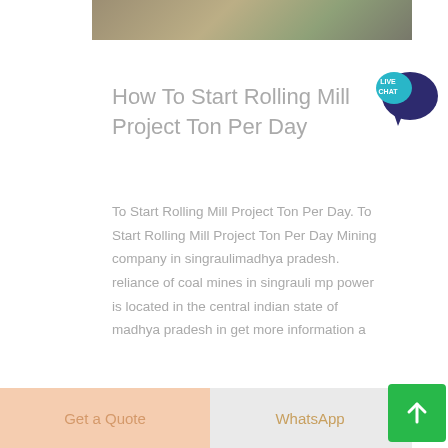[Figure (photo): Top banner image showing an outdoor/industrial or natural scene with muted earthy tones]
How To Start Rolling Mill Project Ton Per Day
To Start Rolling Mill Project Ton Per Day. To Start Rolling Mill Project Ton Per Day Mining company in singraulimadhya pradesh. reliance of coal mines in singrauli mp power is located in the central indian state of madhya pradesh in get more information a
[Figure (other): Live Chat speech bubble icon with dark blue/navy color and 'LIVE CHAT' text in teal/white]
[Figure (other): Light grey horizontal bar at the bottom of the content area]
[Figure (other): Get a Quote button in peach/salmon color]
[Figure (other): WhatsApp text button in golden/amber color]
[Figure (other): Green scroll-to-top button with upward arrow icon]